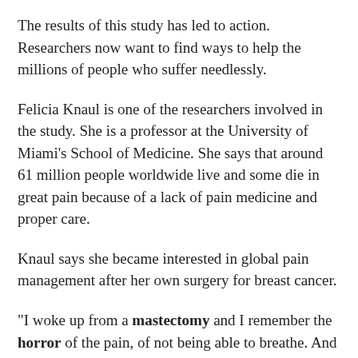The results of this study has led to action. Researchers now want to find ways to help the millions of people who suffer needlessly.
Felicia Knaul is one of the researchers involved in the study. She is a professor at the University of Miami's School of Medicine. She says that around 61 million people worldwide live and some die in great pain because of a lack of pain medicine and proper care.
Knaul says she became interested in global pain management after her own surgery for breast cancer.
"I woke up from a mastectomy and I remember the horror of the pain, of not being able to breathe. And yet, I got access almost immediately to pain relief, which allowed me to push through it much more easily."